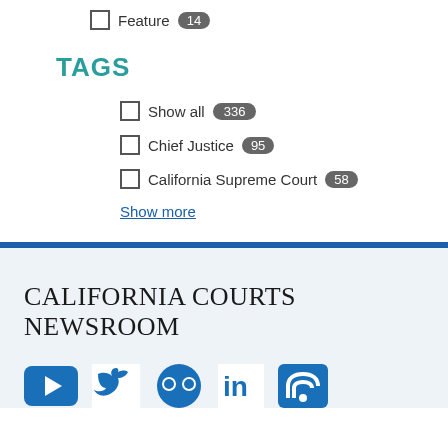Feature 14
TAGS
Show all 336
Chief Justice 95
California Supreme Court 58
Show more
CALIFORNIA COURTS NEWSROOM
[Figure (infographic): Social media icons: YouTube, Twitter, Flickr, LinkedIn, RSS feed]